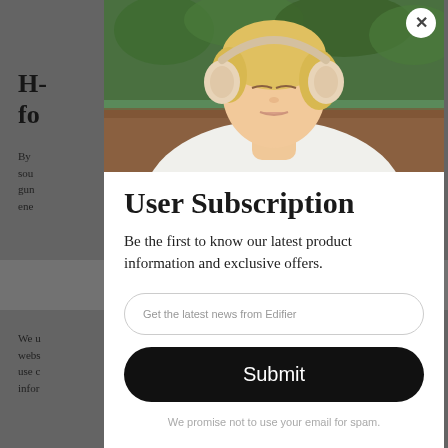[Figure (screenshot): Background webpage partially visible behind modal overlay, showing article title starting with 'H-' and body text, greyed out]
[Figure (photo): Photo of a young blonde woman with eyes closed wearing rose gold over-ear headphones, sitting in a cafe with green plants in background]
User Subscription
Be the first to know our latest product information and exclusive offers.
Get the latest news from Edifier
Submit
We promise not to use your email for spam.